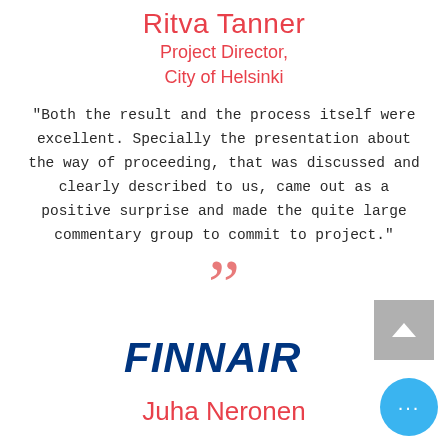Ritva Tanner
Project Director,
City of Helsinki
"Both the result and the process itself were excellent. Specially the presentation about the way of proceeding, that was discussed and clearly described to us, came out as a positive surprise and made the quite large commentary group to commit to project."
[Figure (illustration): Large pink/salmon closing double quotation marks decorative element]
[Figure (logo): Finnair logo in dark blue with italic bold sans-serif lettering]
[Figure (other): Grey square scroll-to-top button with white chevron arrow]
Juha Neronen
[Figure (other): Blue circular more/menu button with three white dots]